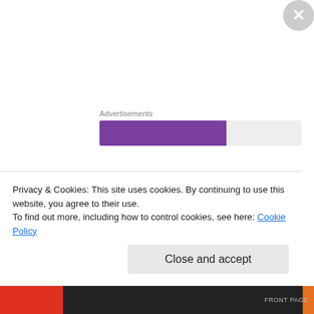[Figure (other): Advertisements progress bar with purple filled portion (~63%) and light gray remainder]
*
“You’re late.”
Nick could not think what on earth he was late for. He had an appointment to keep certainly, but there had been no time arranged and some bimbo would no doubt fetch him.
Privacy & Cookies: This site uses cookies. By continuing to use this website, you agree to their use.
To find out more, including how to control cookies, see here: Cookie Policy
Close and accept